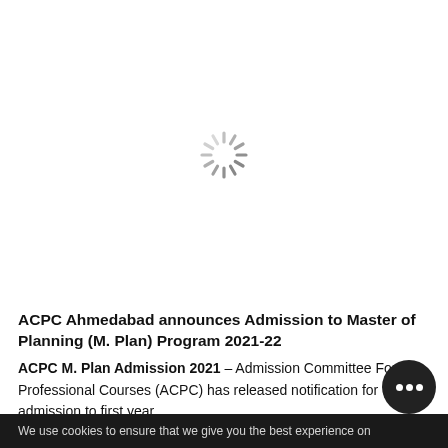[Figure (other): Loading spinner graphic centered in upper portion of page]
ACPC Ahmedabad announces Admission to Master of Planning (M. Plan) Program 2021-22
ACPC M. Plan Admission 2021 – Admission Committee For Professional Courses (ACPC) has released notification for the admission to first year
We use cookies to ensure that we give you the best experience on